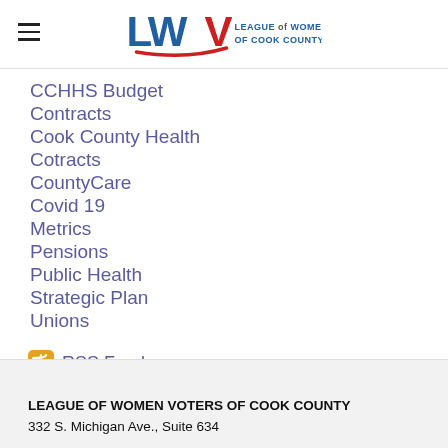LWV League of Women Voters of Cook County
CCHHS Budget
Contracts
Cook County Health
Cotracts
CountyCare
Covid 19
Metrics
Pensions
Public Health
Strategic Plan
Unions
RSS Feed
LEAGUE OF WOMEN VOTERS OF COOK COUNTY
332 S. Michigan Ave., Suite 634